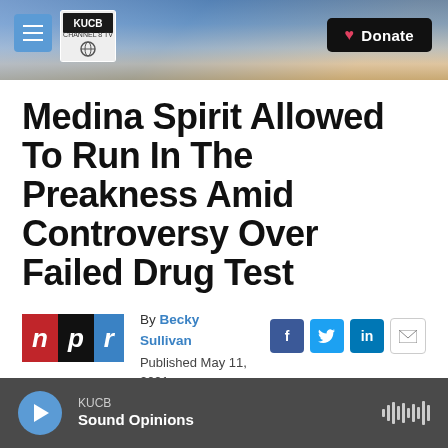KUCB Channel 8 TV — Donate
Medina Spirit Allowed To Run In The Preakness Amid Controversy Over Failed Drug Test
By Becky Sullivan
Published May 11, 2021 at 12:16 PM AKDT
[Figure (logo): NPR logo with red N, black P, blue R]
[Figure (other): Social share icons: Facebook, Twitter, LinkedIn, Email]
KUCB — Sound Opinions